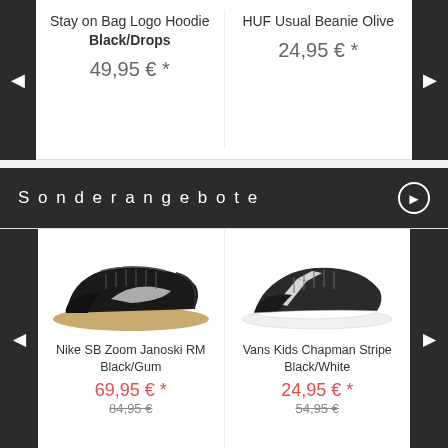Stay on Bag Logo Hoodie Black/Drops
49,95 € *
HUF Usual Beanie Olive
24,95 € *
Sonderangebote
[Figure (photo): Nike SB Zoom Janoski RM Black/Gum sneaker shoe, side view]
Nike SB Zoom Janoski RM Black/Gum
69,95 € *
84,95 €
[Figure (photo): Vans Kids Chapman Stripe Black/White sneaker shoe, side view]
Vans Kids Chapman Stripe Black/White
24,95 € *
54,95 €